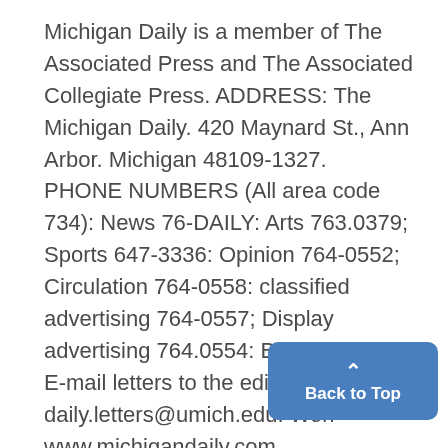Michigan Daily is a member of The Associated Press and The Associated Collegiate Press. ADDRESS: The Michigan Daily. 420 Maynard St., Ann Arbor. Michigan 48109-1327. PHONE NUMBERS (All area code 734): News 76-DAILY: Arts 763.0379; Sports 647-3336: Opinion 764-0552; Circulation 764-0558: classified advertising 764-0557; Display advertising 764.0554: Billing 764.0550. E-mail letters to the editor to daily.letters@umich.edu. World Wide Web: www.michigandaily.com.